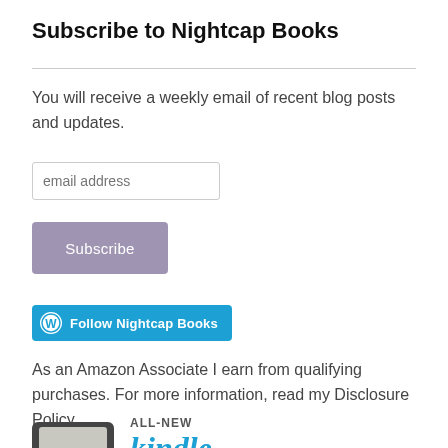Subscribe to Nightcap Books
You will receive a weekly email of recent blog posts and updates.
[Figure (screenshot): Email address input field with placeholder text 'email address']
[Figure (screenshot): Grey Subscribe button]
[Figure (screenshot): WordPress Follow Nightcap Books button in teal/blue]
As an Amazon Associate I earn from qualifying purchases. For more information, read my Disclosure Policy.
[Figure (screenshot): Kindle device image with ALL-NEW Kindle logo text at bottom of page]